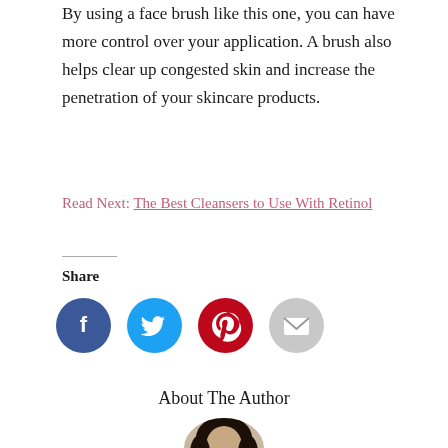By using a face brush like this one, you can have more control over your application. A brush also helps clear up congested skin and increase the penetration of your skincare products.
Read Next: The Best Cleansers to Use With Retinol
Share
[Figure (infographic): Social sharing icons: Facebook (blue circle), Twitter (light blue circle), Pinterest (red circle), Email (grey circle)]
About The Author
[Figure (photo): Partial photo of a woman with dark hair, shown from shoulders up, cropped at bottom of page]